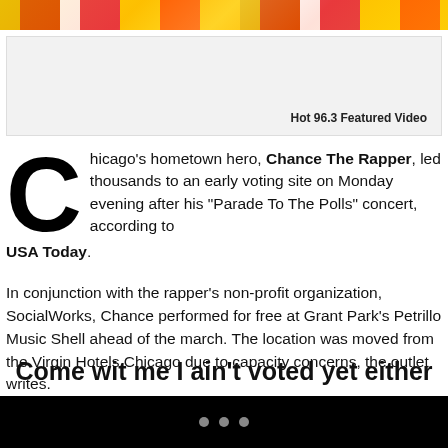[Figure (photo): Colorful banner image at the top of the page with vibrant yellow, orange, red, and white colors]
[Figure (screenshot): Hot 96.3 Featured Video embedded player box with gray background]
Chicago’s hometown hero, Chance The Rapper, led thousands to an early voting site on Monday evening after his “Parade To The Polls” concert, according to USA Today.
In conjunction with the rapper’s non-profit organization, SocialWorks, Chance performed for free at Grant Park’s Petrillo Music Shell ahead of the march. The location was moved from the Virgin Hotels Chicago due to capacity concerns, the outlet writes.
Come wit me I ain’t voted yet either